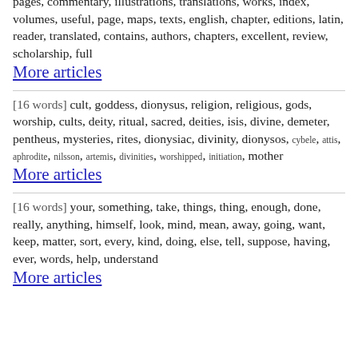[16 words] text, translation, edition, volume, introduction, books, pages, commentary, illustrations, translations, works, index, volumes, useful, page, maps, texts, english, chapter, editions, latin, reader, translated, contains, authors, chapters, excellent, review, scholarship, full
More articles
[16 words] cult, goddess, dionysus, religion, religious, gods, worship, cults, deity, ritual, sacred, deities, isis, divine, demeter, pentheus, mysteries, rites, dionysiac, divinity, dionysos, cybele, attis, aphrodite, nilsson, artemis, divinities, worshipped, initiation, mother
More articles
[16 words] your, something, take, things, thing, enough, done, really, anything, himself, look, mind, mean, away, going, want, keep, matter, sort, every, kind, doing, else, tell, suppose, having, ever, words, help, understand
More articles